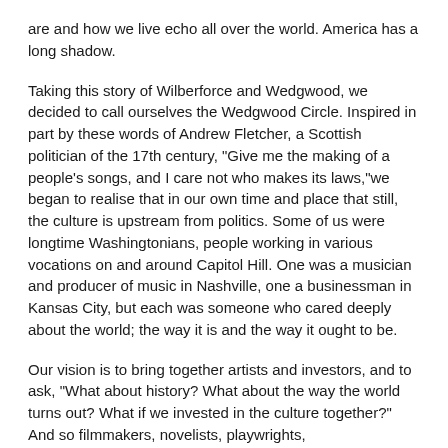are and how we live echo all over the world. America has a long shadow.
Taking this story of Wilberforce and Wedgwood, we decided to call ourselves the Wedgwood Circle. Inspired in part by these words of Andrew Fletcher, a Scottish politician of the 17th century, "Give me the making of a people's songs, and I care not who makes its laws,"we began to realise that in our own time and place that still, the culture is upstream from politics. Some of us were longtime Washingtonians, people working in various vocations on and around Capitol Hill. One was a musician and producer of music in Nashville, one a businessman in Kansas City, but each was someone who cared deeply about the world; the way it is and the way it ought to be.
Our vision is to bring together artists and investors, and to ask, "What about history? What about the way the world turns out? What if we invested in the culture together?" And so filmmakers, novelists, playwrights, singer/songwriters, graphic novelists, etc, alongside people with more-than-average financial resources who are also passionate about the common good, come together under the banner of the Wedgwood Circle year by year, each time going "further up and further into to a common life and a common commitment. That is, to work on history, on the way the world is and the way it ought to be.